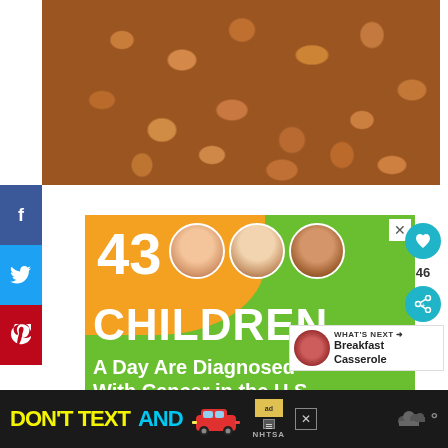[Figure (photo): Close-up photo of chunks of cooked or caramelized meat/food pieces with dark glazed appearance on a dark background]
[Figure (infographic): Social media share sidebar with Facebook (blue), Twitter (blue), Pinterest (red) icons]
[Figure (infographic): Advertisement: '43 CHILDREN A Day Are Diagnosed With Cancer in the U.S.' with orange and green background and three children's circular photos]
[Figure (infographic): What's Next panel showing 'Breakfast Casserole' with circular food image]
[Figure (infographic): Right side action buttons: heart icon with count 46, share icon]
[Figure (infographic): Bottom banner ad: 'DON'T TEXT AND' with car graphic and NHTSA logo on dark background]